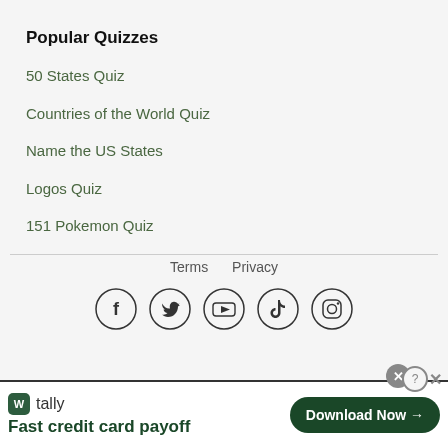Popular Quizzes
50 States Quiz
Countries of the World Quiz
Name the US States
Logos Quiz
151 Pokemon Quiz
Terms   Privacy
[Figure (other): Social media icons: Facebook, Twitter, YouTube, TikTok, Instagram in circular outlines]
[Figure (other): Tally app advertisement banner: 'Fast credit card payoff' with Download Now button]